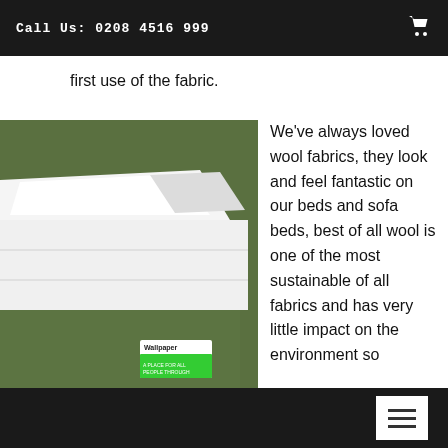Call Us: 0208 4516 999
first use of the fabric.
[Figure (photo): A green upholstered bed with white pillow and mattress, with a Wallpaper magazine award sticker on the side, in front of a green wall.]
We've always loved wool fabrics, they look and feel fantastic on our beds and sofa beds, best of all wool is one of the most sustainable of all fabrics and has very little impact on the environment so